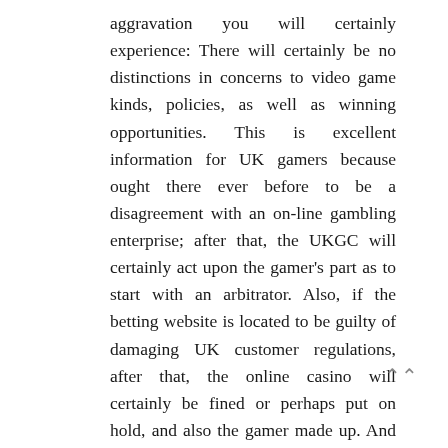aggravation you will certainly experience: There will certainly be no distinctions in concerns to video game kinds, policies, as well as winning opportunities. This is excellent information for UK gamers because ought there ever before to be a disagreement with an on-line gambling enterprise; after that, the UKGC will certainly act upon the gamer's part as to start with an arbitrator. Also, if the betting website is located to be guilty of damaging UK customer regulations, after that, the online casino will certainly be fined or perhaps put on hold, and also the gamer made up. And also, they will certainly not have the ability to position banks on university video games that are happening in New Jersey.
The three full-fledged online casinos in Colorado